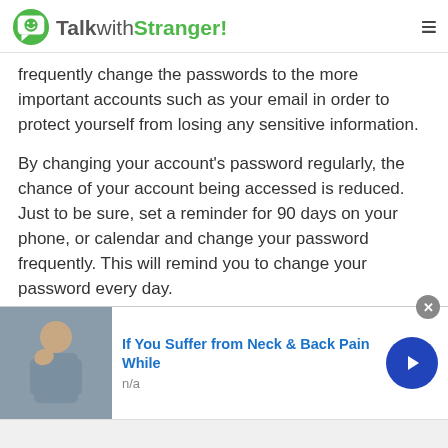TalkwithStranger!
frequently change the passwords to the more important accounts such as your email in order to protect yourself from losing any sensitive information.
By changing your account's password regularly, the chance of your account being accessed is reduced. Just to be sure, set a reminder for 90 days on your phone, or calendar and change your password frequently. This will remind you to change your password every day.
If you are setting a reminder on your mobile phone, it is a good idea to add links to all of your accounts so when you get the notification you just have to click each link to
[Figure (infographic): Advertisement banner showing a person with neck/back pain. Text reads 'If You Suffer from Neck & Back Pain While' with subtext 'n/a' and a blue arrow button. Close button (x) in top right corner.]